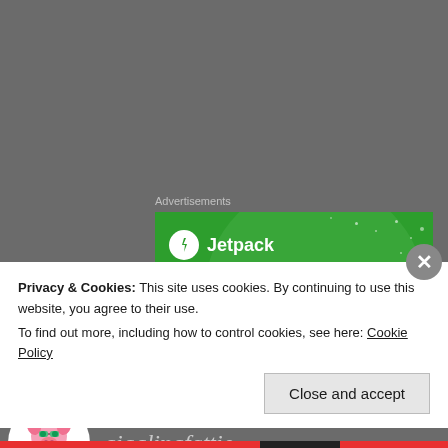Advertisements
[Figure (screenshot): Jetpack advertisement banner on green background with text 'The best real-time']
gigglingfattie
Privacy & Cookies: This site uses cookies. By continuing to use this website, you agree to their use.
To find out more, including how to control cookies, see here: Cookie Policy
Close and accept